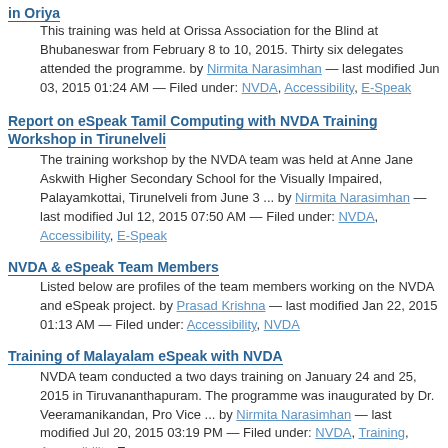Report on Training in Basic Computing with use of eSpeak and NVDA in Oriya
This training was held at Orissa Association for the Blind at Bhubaneswar from February 8 to 10, 2015. Thirty six delegates attended the programme. by Nirmita Narasimhan — last modified Jun 03, 2015 01:24 AM — Filed under: NVDA, Accessibility, E-Speak
Report on eSpeak Tamil Computing with NVDA Training Workshop in Tirunelveli
The training workshop by the NVDA team was held at Anne Jane Askwith Higher Secondary School for the Visually Impaired, Palayamkottai, Tirunelveli from June 3 ... by Nirmita Narasimhan — last modified Jul 12, 2015 07:50 AM — Filed under: NVDA, Accessibility, E-Speak
NVDA & eSpeak Team Members
Listed below are profiles of the team members working on the NVDA and eSpeak project. by Prasad Krishna — last modified Jan 22, 2015 01:13 AM — Filed under: Accessibility, NVDA
Training of Malayalam eSpeak with NVDA
NVDA team conducted a two days training on January 24 and 25, 2015 in Tiruvananthapuram. The programme was inaugurated by Dr. Veeramanikandan, Pro Vice ... by Nirmita Narasimhan — last modified Jul 20, 2015 03:19 PM — Filed under: NVDA, Training, Accessibility, E-